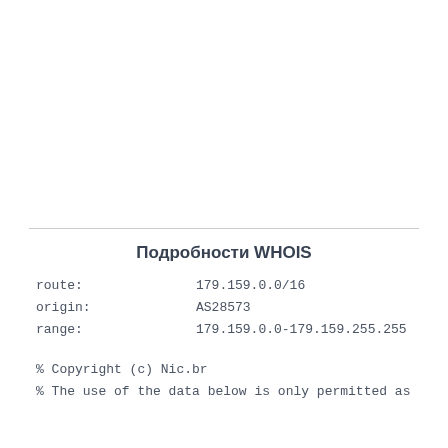Подробности WHOIS
route:     179.159.0.0/16
origin:    AS28573
range:     179.159.0.0-179.159.255.255
% Copyright (c) Nic.br
% The use of the data below is only permitted as